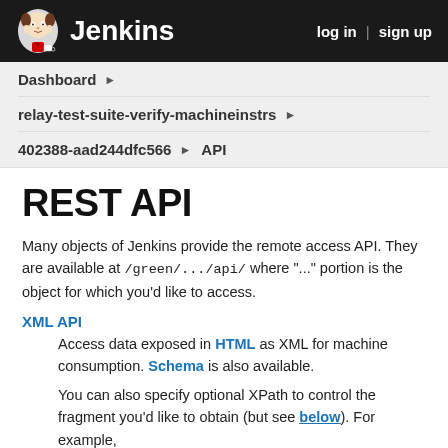Jenkins   log in | sign up
Dashboard ▶
relay-test-suite-verify-machineinstrs ▶
402388-aad244dfc566 ▶ API
REST API
Many objects of Jenkins provide the remote access API. They are available at /green/.../api/ where "..." portion is the object for which you'd like to access.
XML API
Access data exposed in HTML as XML for machine consumption. Schema is also available.
You can also specify optional XPath to control the fragment you'd like to obtain (but see below). For example,